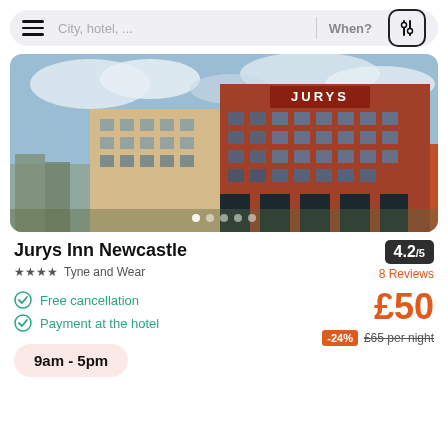City, hotel, ...  When?
[Figure (photo): Exterior photo of Jurys Inn Newcastle hotel building - a large multi-storey brick building with the JURYS signage on top, set against a blue sky with clouds]
Jurys Inn Newcastle
★★★★  Tyne and Wear
4.2/5
8 Reviews
Free cancellation
Payment at the hotel
£50
-24%  £65 per night
9am - 5pm